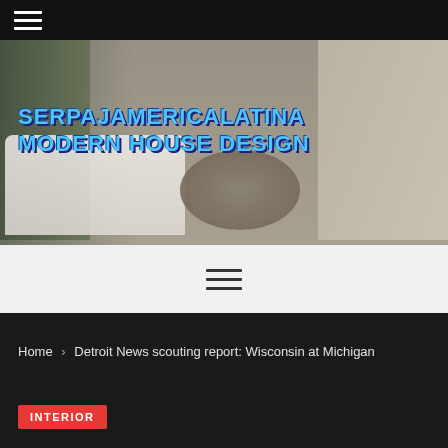[Figure (photo): Interior living room of a modern luxury house with a white sectional sofa, round wood coffee table, staircase in background, floor-to-ceiling windows, with overlaid text 'SERPAJAMERICALATINA MODERN HOUSE DESIGN']
Home > Detroit News scouting report: Wisconsin at Michigan
INTERIOR